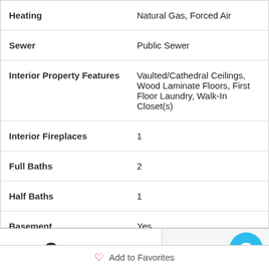| Property Feature | Value |
| --- | --- |
| Heating | Natural Gas, Forced Air |
| Sewer | Public Sewer |
| Interior Property Features | Vaulted/Cathedral Ceilings, Wood Laminate Floors, First Floor Laundry, Walk-In Closet(s) |
| Interior Fireplaces | 1 |
| Full Baths | 2 |
| Half Baths | 1 |
| Basement | Yes |
Request Info
[Figure (illustration): Blue circular chat bubble icon]
Add to Favorites